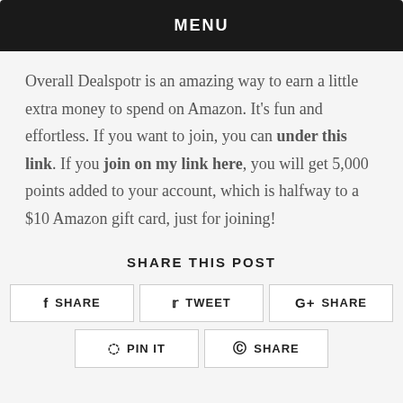MENU
Overall Dealspotr is an amazing way to earn a little extra money to spend on Amazon. It's fun and effortless. If you want to join, you can under this link. If you join on my link here, you will get 5,000 points added to your account, which is halfway to a $10 Amazon gift card, just for joining!
SHARE THIS POST
f SHARE   🐦 TWEET   G+ SHARE   ⊕ PIN IT   © SHARE